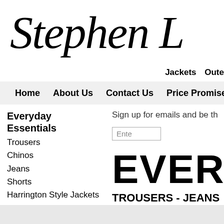Stephen L
Jackets  Oute
Home  About Us  Contact Us  Price Promise  Opening Hou
Everyday Essentials
Trousers
Chinos
Jeans
Shorts
Harrington Style Jackets
Formal Shirts
Brook Taverner
Double Two
Eterna
Olymp
Peter England
Rael Brook
Sign up for emails and be th
Ente
EVERY
TROUSERS - JEANS